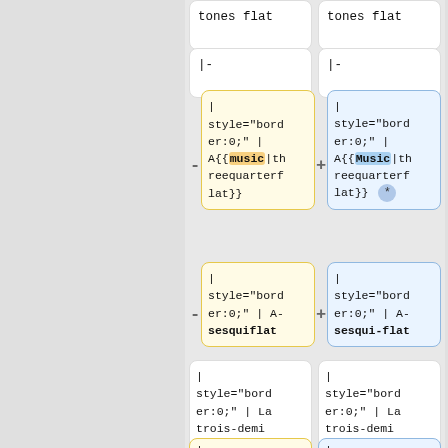tones flat | tones flat
|- | |-
| style="border:0;" | A{{music|threequarterflat}} | | style="border:0;" | A{{Music|threequarterflat}} *
| style="border:0;" | A-sesquiflat | | style="border:0;" | A-sesqui-flat
| style="border:0;" | La trois-demi de bémol | | style="border:0;" | La trois-demi de bémol
| |